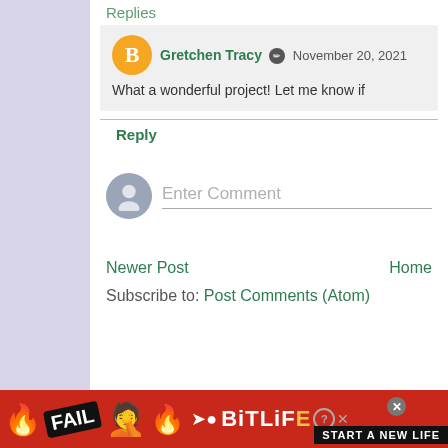Replies
Gretchen Tracy  November 20, 2021
What a wonderful project! Let me know if
Reply
Enter Comment
Newer Post
Home
Subscribe to: Post Comments (Atom)
[Figure (infographic): Advertisement banner for BitLife game showing FAIL text, facepalm emoji, flames, BitLife logo and 'START A NEW LIFE' text on red background]